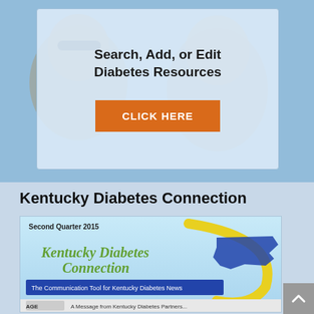Search, Add, or Edit Diabetes Resources
[Figure (other): Orange button labeled CLICK HERE]
[Figure (photo): Background photo of two smiling women, one with sunglasses, with a blue overlay tint]
Kentucky Diabetes Connection
[Figure (screenshot): Thumbnail of Kentucky Diabetes Connection newsletter cover, Second Quarter 2015, showing the newsletter logo with Kentucky state outline and text 'The Communication Tool for Kentucky Diabetes News']